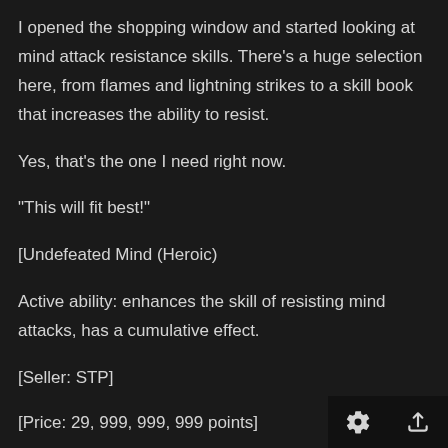I opened the shopping window and started looking at mind attack resistance skills. There's a huge selection here, from flames and lightning strikes to a skill book that increases the ability to resist.
Yes, that's the one I need right now.
“This will fit best!”
[Undefeated Mind (Heroic)
Active ability: enhances the skill of resisting mind attacks, has a cumulative effect.
[Seller: STP]
[Price: 29, 999, 999, 999 points]